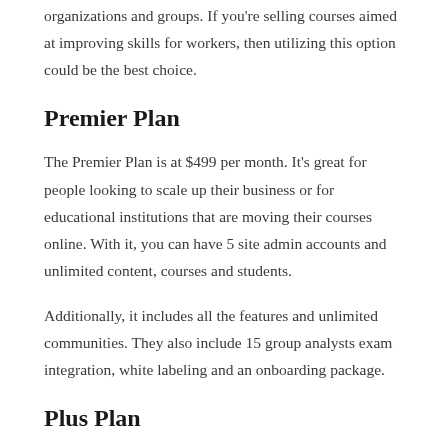organizations and groups. If you're selling courses aimed at improving skills for workers, then utilizing this option could be the best choice.
Premier Plan
The Premier Plan is at $499 per month. It's great for people looking to scale up their business or for educational institutions that are moving their courses online. With it, you can have 5 site admin accounts and unlimited content, courses and students.
Additionally, it includes all the features and unlimited communities. They also include 15 group analysts exam integration, white labeling and an onboarding package.
Plus Plan
If you find the Premier Plan constraining, Thinkific also offers a Plus Plan. Apart from email white labeling It will also allow you to